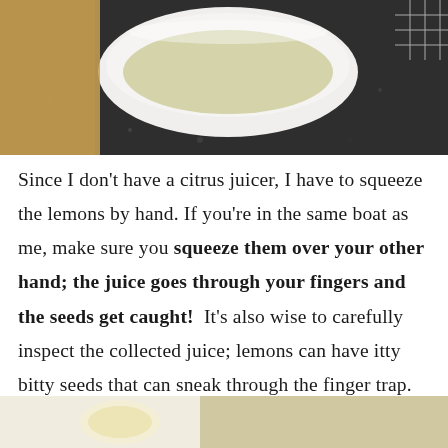[Figure (photo): A white rectangular dish containing yellowish-green lemon juice, sitting on a dark granite countertop. A wooden cutting board is partially visible on the left.]
Since I don't have a citrus juicer, I have to squeeze the lemons by hand. If you're in the same boat as me, make sure you squeeze them over your other hand; the juice goes through your fingers and the seeds get caught!  It's also wise to carefully inspect the collected juice; lemons can have itty bitty seeds that can sneak through the finger trap.
[Figure (photo): A partial view of another kitchen preparation photo, showing what appears to be lemon or food preparation, cropped at the bottom of the page.]